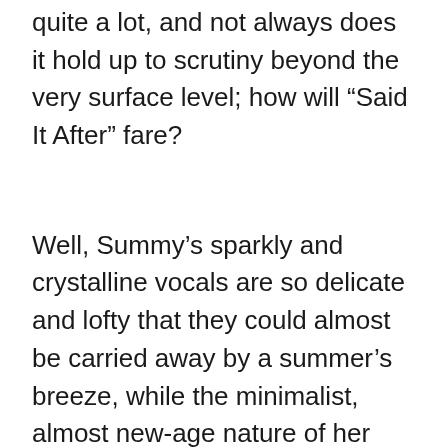quite a lot, and not always does it hold up to scrutiny beyond the very surface level; how will “Said It After” fare?
Well, Summy’s sparkly and crystalline vocals are so delicate and lofty that they could almost be carried away by a summer’s breeze, while the minimalist, almost new-age nature of her musical composition easily fills every bit of the soundscape with this tranquil and leisurely vibe that makes this the absolute perfect song to chill to. Somewhat despite all these positive things, the lyrics themselves have a bit of a dark side to